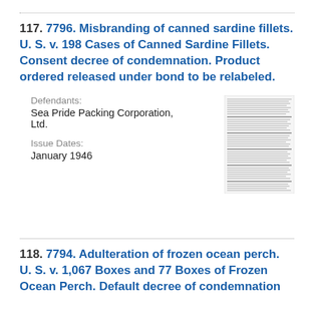117. 7796. Misbranding of canned sardine fillets. U. S. v. 198 Cases of Canned Sardine Fillets. Consent decree of condemnation. Product ordered released under bond to be relabeled.
Defendants: Sea Pride Packing Corporation, Ltd.
Issue Dates: January 1946
[Figure (other): Small thumbnail image of a legal document page with dense text]
118. 7794. Adulteration of frozen ocean perch. U. S. v. 1,067 Boxes and 77 Boxes of Frozen Ocean Perch. Default decree of condemnation and destruction.